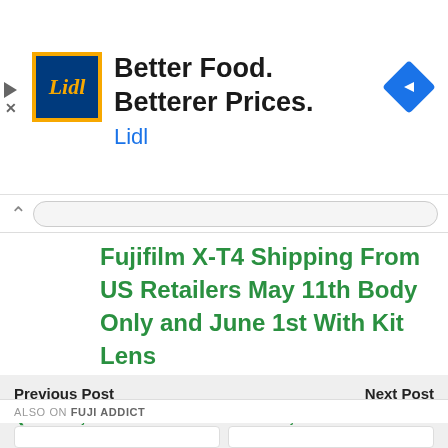[Figure (other): Lidl advertisement banner with logo, headline 'Better Food. Betterer Prices.' and subtext 'Lidl', with a blue navigation arrow icon on the right]
Fujifilm X-T4 Shipping From US Retailers May 11th Body Only and June 1st With Kit Lens
Previous Post
‹ More Fujifilm EF-W1 Photos Leak
Next Post
DPR: Fujifilm X-T200 Reviewed And Receives Silver Award ›
ALSO ON FUJI ADDICT